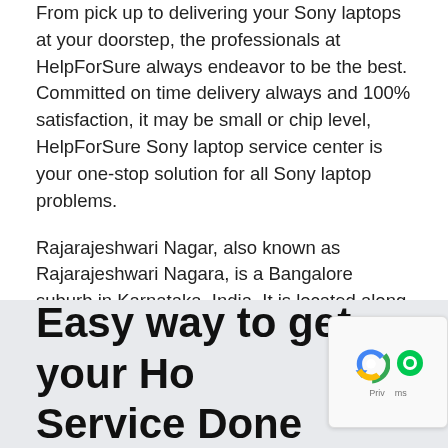From pick up to delivering your Sony laptops at your doorstep, the professionals at HelpForSure always endeavor to be the best. Committed on time delivery always and 100% satisfaction, it may be small or chip level, HelpForSure Sony laptop service center is your one-stop solution for all Sony laptop problems.
Rajarajeshwari Nagar, also known as Rajarajeshwari Nagara, is a Bangalore suburb in Karnataka, India. It is located along the Mysore Road in the southwestern section of Bangalore, with Nagarbhavi and Bangalore University to the north and northwest, and Kengeri to the south. This neighborhood is nice since it is close to the Jnanabharathi Metro station and the Bangalore University campus. Rajarajeshwari Nagar is a place in Rajarajeshwari Nagar. Rajarajeshwari Nagar is a growing region with good BBMP amenities and upscale neighborhoods.
Easy way to get your Home Service Done